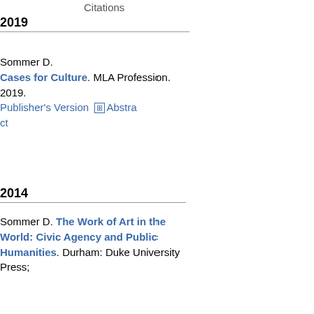Citations
2019
Sommer D. Cases for Culture. MLA Profession. 2019. Publisher's Version  ⊞ Abstract
2014
Sommer D. The Work of Art in the World: Civic Agency and Public Humanities. Durham: Duke University Press;